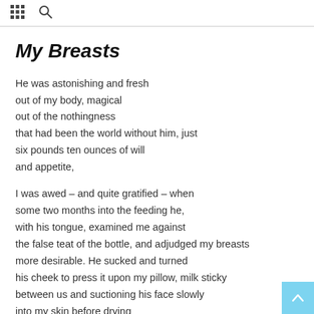[grid icon] [search icon]
My Breasts
He was astonishing and fresh
out of my body, magical
out of the nothingness
that had been the world without him, just
six pounds ten ounces of will
and appetite,

I was awed – and quite gratified – when
some two months into the feeding he,
with his tongue, examined me against
the false teat of the bottle, and adjudged my breasts
more desirable. He sucked and turned
his cheek to press it upon my pillow, milk sticky
between us and suctioning his face slowly
into my skin before drying